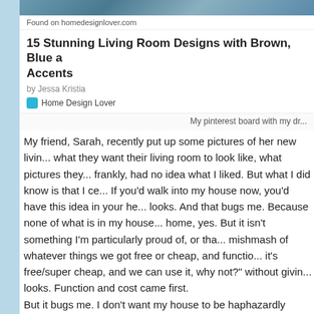[Figure (screenshot): Screenshot of a Pinterest card showing a home design article. Top image is a textured teal/blue knit or fabric. Below is the source 'Found on homedesignlover.com', article title '15 Stunning Living Room Designs with Brown, Blue a Accents', author 'by Jessa Kristia', and brand 'Home Design Lover' with teal icon. Footer shows 'My pinterest board with my dr...']
My friend, Sarah, recently put up some pictures of her new livin... what they want their living room to look like, what pictures they... frankly, had no idea what I liked. But what I did know is that I ce... If you'd walk into my house now, you'd have this idea in your he... looks. And that bugs me. Because none of what is in my house... home, yes. But it isn't something I'm particularly proud of, or tha... mishmash of whatever things we got free or cheap, and functio... it's free/super cheap, and we can use it, why not?" without givin... looks. Function and cost came first. But it bugs me. I don't want my house to be haphazardly thrown... a house that makes me happy, and a house whose style speak... But it doesn't.
This has made me do a lot of thinking, because I can't just say ... if I have no idea what I actually do like. I know what styles I don...